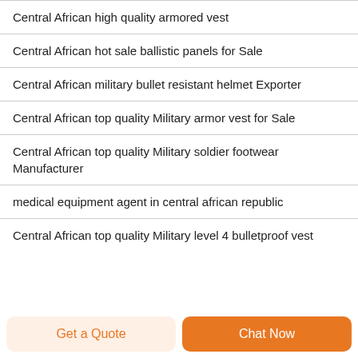Central African high quality armored vest
Central African hot sale ballistic panels for Sale
Central African military bullet resistant helmet Exporter
Central African top quality Military armor vest for Sale
Central African top quality Military soldier footwear Manufacturer
medical equipment agent in central african republic
Central African top quality Military level 4 bulletproof vest
Get a Quote
Chat Now